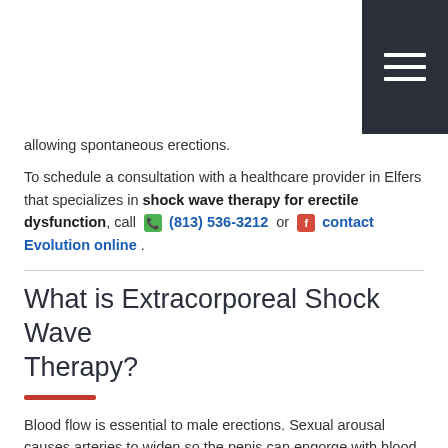[Navigation bar with hamburger menu]
allowing spontaneous erections.
To schedule a consultation with a healthcare provider in Elfers that specializes in shock wave therapy for erectile dysfunction, call  (813) 536-3212  or  contact Evolution online .
What is Extracorporeal Shock Wave Therapy?
Blood flow is essential to male erections. Sexual arousal causes arteries to widen so the penis can engorge with blood, giving it the firmness it needs for vaginal penetration. When there are problems with blood flow, it is difficult to maintain or even achieve an erection.
Contrary to its name, extracorporeal shock wave therapy is